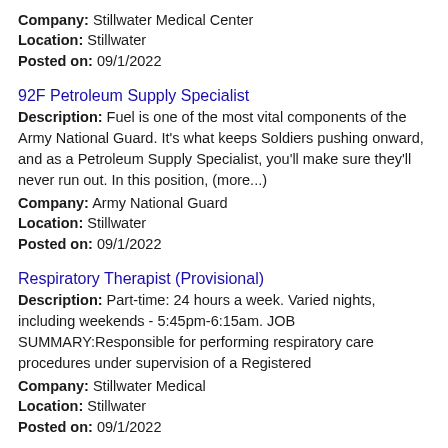Company: Stillwater Medical Center
Location: Stillwater
Posted on: 09/1/2022
92F Petroleum Supply Specialist
Description: Fuel is one of the most vital components of the Army National Guard. It's what keeps Soldiers pushing onward, and as a Petroleum Supply Specialist, you'll make sure they'll never run out. In this position, (more...)
Company: Army National Guard
Location: Stillwater
Posted on: 09/1/2022
Respiratory Therapist (Provisional)
Description: Part-time: 24 hours a week. Varied nights, including weekends - 5:45pm-6:15am. JOB SUMMARY:Responsible for performing respiratory care procedures under supervision of a Registered
Company: Stillwater Medical
Location: Stillwater
Posted on: 09/1/2022
Salary in Tulsa, Oklahoma Area | More details for Tulsa, Oklahoma, Jobs |Salary